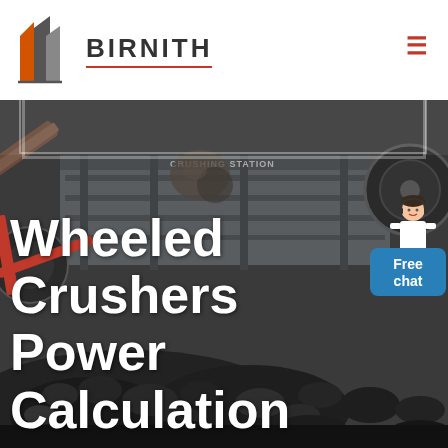BIRNITH
[Figure (photo): Industrial wheeled crusher machine at a crushing station with rocks/coal in the foreground and background, dark industrial setting]
Wheeled Crushers Power Calculation